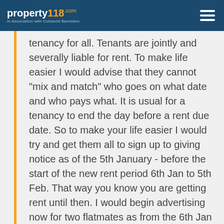property118.com — In Association with Cotswold Barristers
tenancy for all. Tenants are jointly and severally liable for rent. To make life easier I would advise that they cannot "mix and match" who goes on what date and who pays what. It is usual for a tenancy to end the day before a rent due date. So to make your life easier I would try and get them all to sign up to giving notice as of the 5th January - before the start of the new rent period 6th Jan to 5th Feb. That way you know you are getting rent until then. I would begin advertising now for two flatmates as from the 6th Jan or get the tenant to see if he knows someone who will